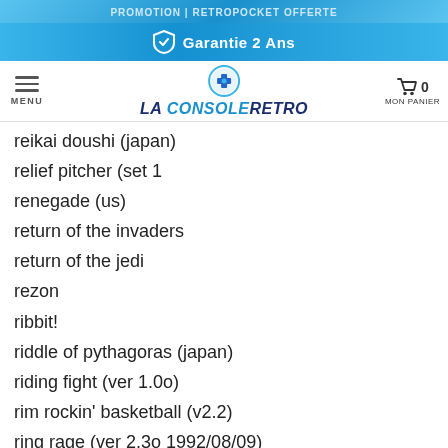PROMOTION | RetroPocket OFFERTE
Garantie 2 Ans
MENU | LA CONSOLE RETRO | MON PANIER 0
reikai doushi (japan)
relief pitcher (set 1
renegade (us)
return of the invaders
return of the jedi
rezon
ribbit!
riddle of pythagoras (japan)
riding fight (ver 1.0o)
rim rockin' basketball (v2.2)
ring rage (ver 2.3o 1992/08/09)
riot city (japan)
rip cord
risky challenge